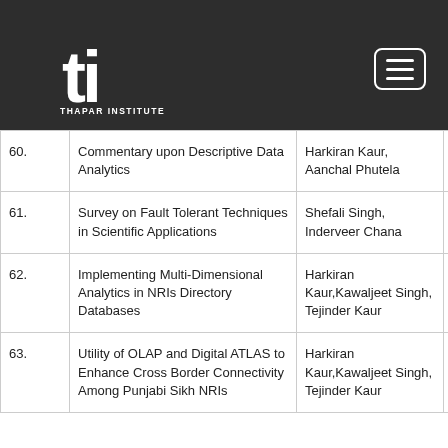[Figure (logo): Thapar Institute of Engineering & Technology logo with 'ti' monogram and text]
| No. | Title | Authors | Year |
| --- | --- | --- | --- |
| 59. | comparative analysis of evolutionary algorithms prediction of software change | L Kaur, A Mishra | 2018 |
| 60. | Commentary upon Descriptive Data Analytics | Harkiran Kaur, Aanchal Phutela | 2018 |
| 61. | Survey on Fault Tolerant Techniques in Scientific Applications | Shefali Singh, Inderveer Chana | 2018 |
| 62. | Implementing Multi-Dimensional Analytics in NRIs Directory Databases | Harkiran Kaur,Kawaljeet Singh, Tejinder Kaur | 2018 |
| 63. | Utility of OLAP and Digital ATLAS to Enhance Cross Border Connectivity Among Punjabi Sikh NRIs | Harkiran Kaur,Kawaljeet Singh, Tejinder Kaur | 2018 |